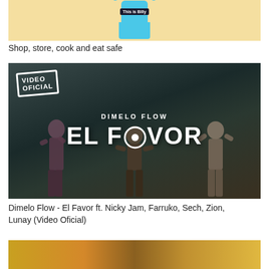[Figure (screenshot): Cropped top portion of a video thumbnail showing a blue robot character labeled 'This is Billy' on a light yellow/cream background]
Shop, store, cook and eat safe
[Figure (photo): Music video thumbnail for 'El Favor' by Dimelo Flow featuring three women in a gym setting. Text overlay reads 'VIDEO OFICIAL', 'DIMELO FLOW', and 'EL FAVOR']
Dimelo Flow - El Favor ft. Nicky Jam, Farruko, Sech, Zion, Lunay (Video Oficial)
[Figure (photo): Partially visible bottom thumbnail showing colorful festive scene, cropped at bottom of page]